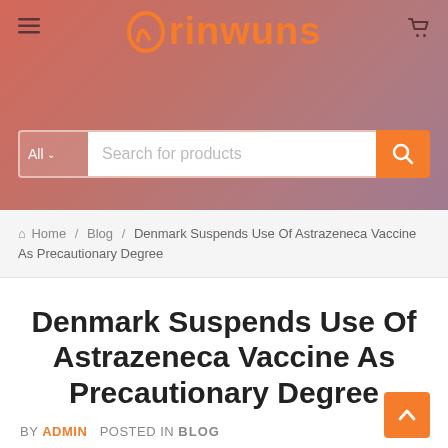Orinwuns
All  Search for products
Home / Blog / Denmark Suspends Use Of Astrazeneca Vaccine As Precautionary Degree
Denmark Suspends Use Of Astrazeneca Vaccine As Precautionary Degree
BY ADMIN  POSTED IN BLOG